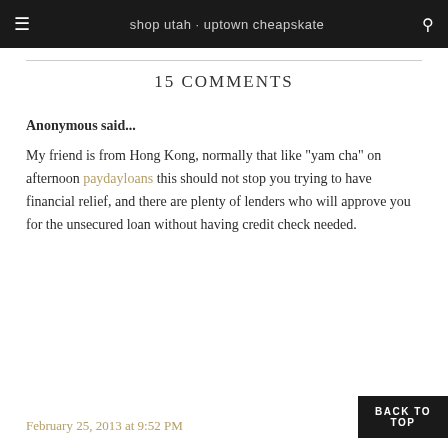shop utah · uptown cheapskate
15 COMMENTS
Anonymous said...
My friend is from Hong Kong, normally that like "yam cha" on afternoon paydayloans this should not stop you trying to have financial relief, and there are plenty of lenders who will approve you for the unsecured loan without having credit check needed.
February 25, 2013 at 9:52 PM